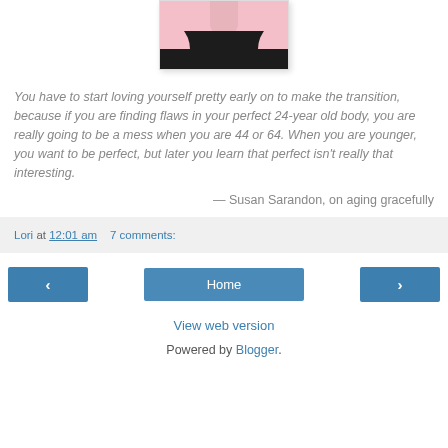[Figure (photo): Cropped photo of a person showing neck and shoulders against a pink background, wearing a black top — partial view cut at top of page]
You have to start loving yourself pretty early on to make the transition, because if you are finding flaws in your perfect 24-year old body, you are really going to be a mess when you are 44 or 64. When you are younger, you want to be perfect, but later you learn that perfect isn't really that interesting.
— Susan Sarandon, on aging gracefully
Lori at 12:01 am   7 comments:
Home
View web version
Powered by Blogger.